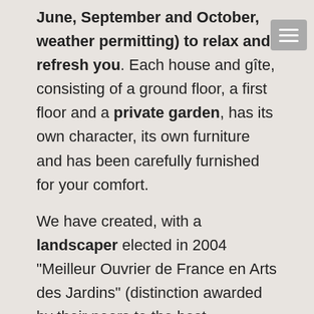June, September and October, weather permitting) to relax and refresh you. Each house and gîte, consisting of a ground floor, a first floor and a private garden, has its own character, its own furniture and has been carefully furnished for your comfort.
We have created, with a landscaper elected in 2004 "Meilleur Ouvrier de France en Arts des Jardins" (distinction awarded by their peers to the best craftsmen in France), gardens bringing together varied, colorful and scented species offering a flowery atmosphere throughout. seasons. Passionnée de plantes méditerranéennes elle a eu un coup de cœur pour notre projet.
Between two getaways, you can relax by the Domaine's swimming pool, a place of relaxation and conviviality. Your